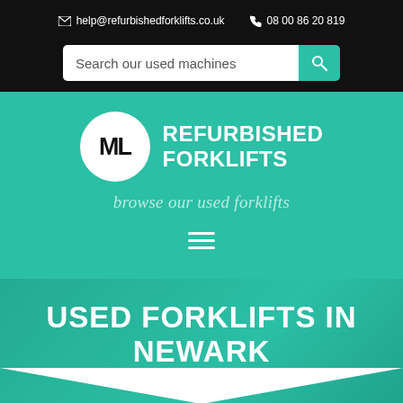help@refurbishedforklifts.co.uk   08 00 86 20 819
Search our used machines
[Figure (logo): ML Refurbished Forklifts logo with circle ML emblem and teal square background, white text reading REFURBISHED FORKLIFTS]
browse our used forklifts
USED FORKLIFTS IN NEWARK